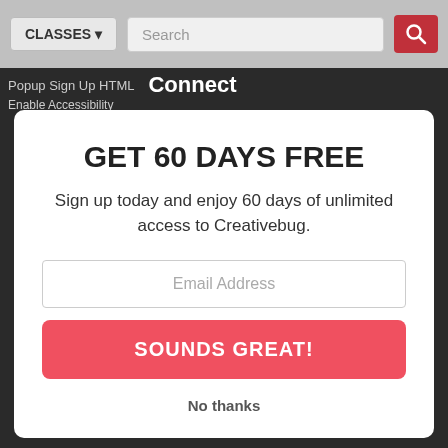[Figure (screenshot): Website navigation bar with CLASSES dropdown, Search input, and red search icon button]
Popup Sign Up HTML
Connect
Enable Accessibility
GET 60 DAYS FREE
Sign up today and enjoy 60 days of unlimited access to Creativebug.
Email Address
SOUNDS GREAT!
No thanks